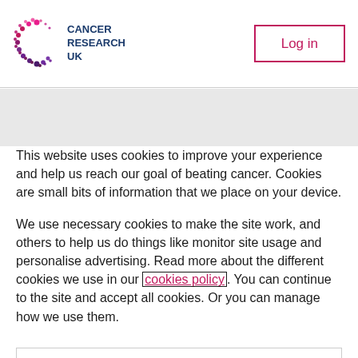[Figure (logo): Cancer Research UK logo — stylized C shape in pink/purple dots with text CANCER RESEARCH UK in dark blue]
Log in
This website uses cookies to improve your experience and help us reach our goal of beating cancer. Cookies are small bits of information that we place on your device.
We use necessary cookies to make the site work, and others to help us do things like monitor site usage and personalise advertising. Read more about the different cookies we use in our cookies policy. You can continue to the site and accept all cookies. Or you can manage how we use them.